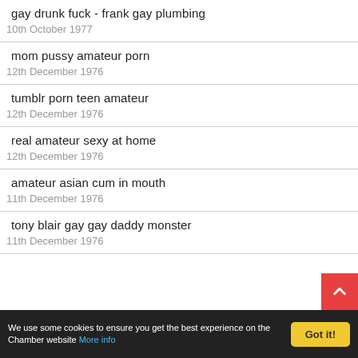gay drunk fuck - frank gay plumbing
10th October 1977
mom pussy amateur porn
12th December 1976
tumblr porn teen amateur
12th December 1976
real amateur sexy at home
12th December 1976
amateur asian cum in mouth
11th December 1976
tony blair gay gay daddy monster
11th December 1976
We use some cookies to ensure you get the best experience on the Chamber website More info  Got it!